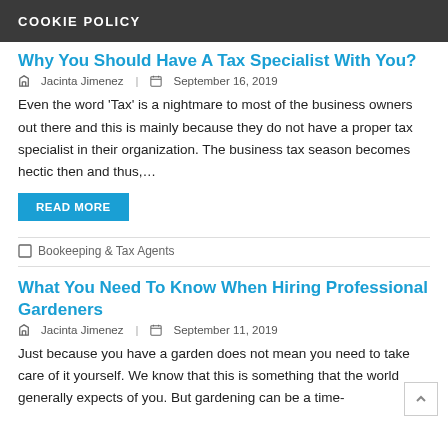COOKIE POLICY
Why You Should Have A Tax Specialist With You?
Jacinta Jimenez  |  September 16, 2019
Even the word 'Tax' is a nightmare to most of the business owners out there and this is mainly because they do not have a proper tax specialist in their organization. The business tax season becomes hectic then and thus,…
READ MORE
Bookeeping & Tax Agents
What You Need To Know When Hiring Professional Gardeners
Jacinta Jimenez  |  September 11, 2019
Just because you have a garden does not mean you need to take care of it yourself. We know that this is something that the world generally expects of you. But gardening can be a time-